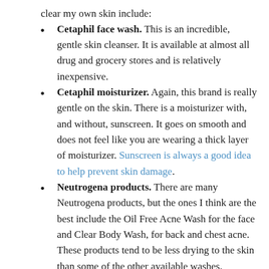clear my own skin include:
Cetaphil face wash. This is an incredible, gentle skin cleanser. It is available at almost all drug and grocery stores and is relatively inexpensive.
Cetaphil moisturizer. Again, this brand is really gentle on the skin. There is a moisturizer with, and without, sunscreen. It goes on smooth and does not feel like you are wearing a thick layer of moisturizer. Sunscreen is always a good idea to help prevent skin damage.
Neutrogena products. There are many Neutrogena products, but the ones I think are the best include the Oil Free Acne Wash for the face and Clear Body Wash, for back and chest acne. These products tend to be less drying to the skin than some of the other available washes.
Neutrogena moisturizer. There are several moisturizers with sunscreen in them that go on